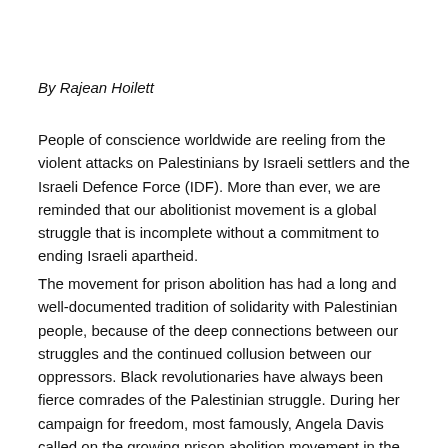By Rajean Hoilett
People of conscience worldwide are reeling from the violent attacks on Palestinians by Israeli settlers and the Israeli Defence Force (IDF). More than ever, we are reminded that our abolitionist movement is a global struggle that is incomplete without a commitment to ending Israeli apartheid.
The movement for prison abolition has had a long and well-documented tradition of solidarity with Palestinian people, because of the deep connections between our struggles and the continued collusion between our oppressors. Black revolutionaries have always been fierce comrades of the Palestinian struggle. During her campaign for freedom, most famously, Angela Davis called on the growing prison abolition movement in the United States to